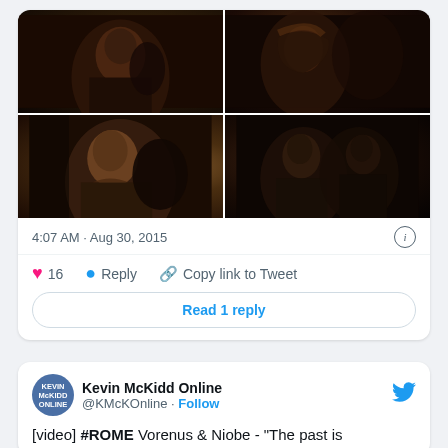[Figure (photo): 2x2 grid of dark film stills showing characters from the TV show Rome - Vorenus and Niobe scenes]
4:07 AM · Aug 30, 2015
❤ 16   Reply   Copy link to Tweet
Read 1 reply
Kevin McKidd Online @KMcKOnline · Follow
[video] #ROME Vorenus & Niobe - "The past is